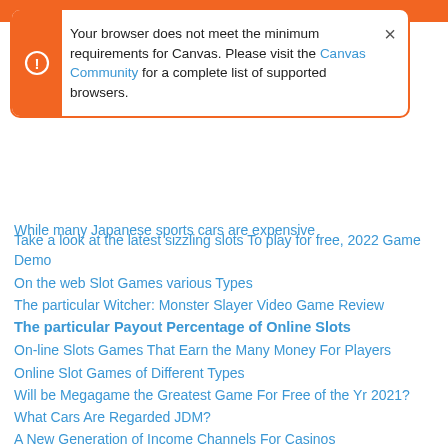[Figure (screenshot): Browser notification popup with orange left bar containing exclamation icon, white background with text about Canvas browser requirements, and close button (×).]
Your browser does not meet the minimum requirements for Canvas. Please visit the Canvas Community for a complete list of supported browsers.
While many Japanese sports cars are expensive
Take a look at the latest sizzling slots To play for free, 2022 Game Demo
On the web Slot Games various Types
The particular Witcher: Monster Slayer Video Game Review
The particular Payout Percentage of Online Slots
On-line Slots Games That Earn the Many Money For Players
Online Slot Games of Different Types
Will be Megagame the Greatest Game For Free of the Yr 2021?
What Cars Are Regarded JDM?
A New Generation of Income Channels For Casinos
On-line Slot Games of Different Types